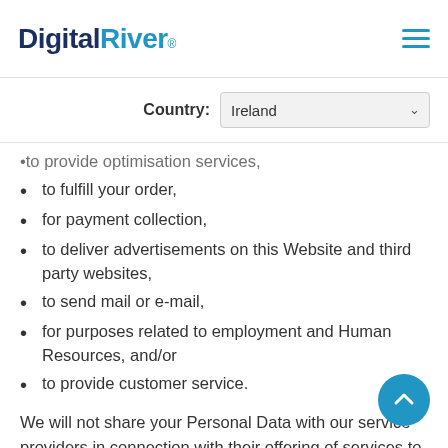Digital River®
Country: Ireland
to provide optimisation services,
to fulfill your order,
for payment collection,
to deliver advertisements on this Website and third party websites,
to send mail or e-mail,
for purposes related to employment and Human Resources, and/or
to provide customer service.
We will not share your Personal Data with our service providers in connection with their offering of services to us, unless it is required